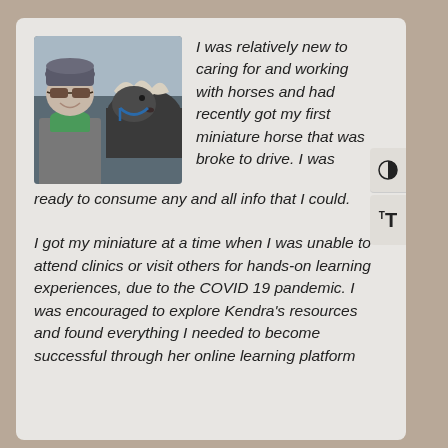[Figure (photo): A smiling woman wearing sunglasses and a knit hat next to a miniature horse with a light-colored mane]
I was relatively new to caring for and working with horses and had recently got my first miniature horse that was broke to drive. I was ready to consume any and all info that I could.
I got my miniature at a time when I was unable to attend clinics or visit others for hands-on learning experiences, due to the COVID 19 pandemic. I was encouraged to explore Kendra’s resources and found everything I needed to become successful through her online learning platform...